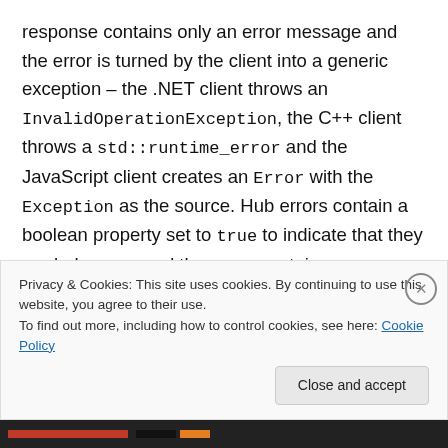response contains only an error message and the error is turned by the client into a generic exception – the .NET client throws an InvalidOperationException, the C++ client throws a std::runtime_error and the JavaScript client creates an Error with the Exception as the source. Hub errors contain a boolean property set to true to indicate that they are hub errors and they may contain some additional error data. Hub errors are turned into a HubException by the .NET Client, a signalr::hub_exception by the C++ client and the JavaScript client creates an Error with source set to
Privacy & Cookies: This site uses cookies. By continuing to use this website, you agree to their use.
To find out more, including how to control cookies, see here: Cookie Policy